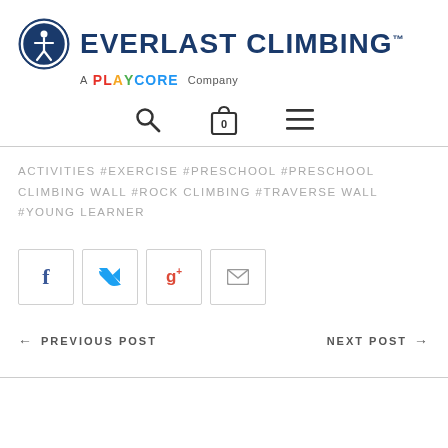[Figure (logo): Everlast Climbing logo with circular icon showing a figure and text 'EVERLAST CLIMBING' with 'A PLAYCORE Company' subtitle]
[Figure (infographic): Navigation icons: magnifying glass (search), shopping bag with 0, hamburger menu]
ACTIVITIES #EXERCISE #PRESCHOOL #PRESCHOOL CLIMBING WALL #ROCK CLIMBING #TRAVERSE WALL #YOUNG LEARNER
[Figure (infographic): Social sharing buttons: Facebook (f), Twitter (bird), Google+ (g+), Email (envelope)]
← PREVIOUS POST
NEXT POST →